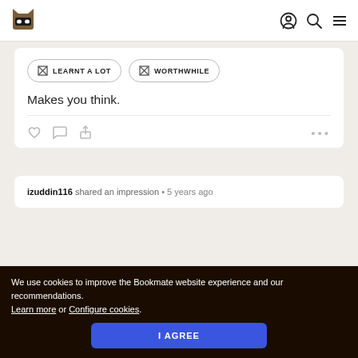[Figure (logo): Bookmate cat mascot logo with mask]
[Figure (other): Navigation icons: user profile, search, hamburger menu]
[Figure (other): Tag buttons: LEARNT A LOT and WORTHWHILE with checkbox icons]
Makes you think.
[Figure (other): Action icons: heart, comment, share and more (...)]
izuddin116 shared an impression • 5 years ago
We use cookies to improve the Bookmate website experience and our recommendations. Learn more or Configure cookies.
I AGREE